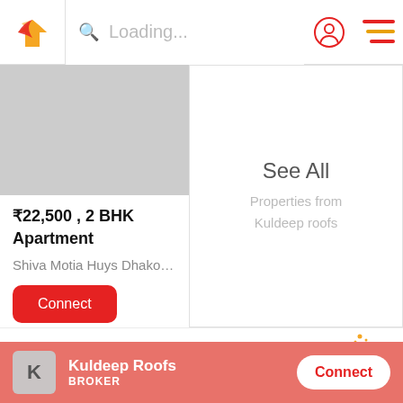Loading...
See All
Properties from
Kuldeep roofs
₹22,500 , 2 BHK
Apartment
Shiva Motia Huys Dhako…
Connect
Looking for more?
We have 46 Similar Properties
Kuldeep Roofs
BROKER
Connect